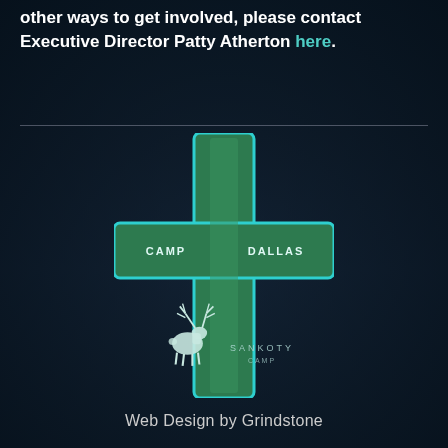other ways to get involved, please contact Executive Director Patty Atherton here.
[Figure (logo): Camp Dallas cross logo with teal outline on dark forest background. Green cross shape with 'CAMP' and 'DALLAS' text on the horizontal bar. Below the cross is a white deer/stag illustration and 'SANKOTY' text.]
Web Design by Grindstone